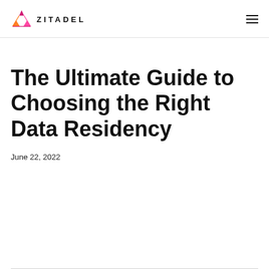ZITADEL
The Ultimate Guide to Choosing the Right Data Residency
June 22, 2022